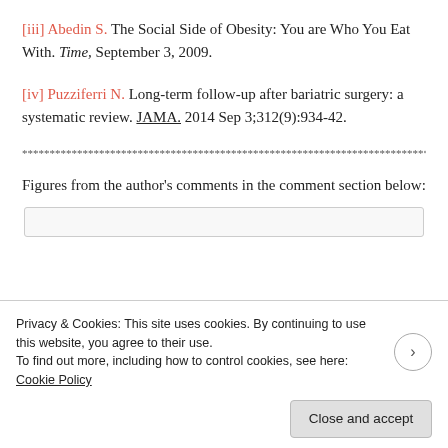[iii] Abedin S. The Social Side of Obesity: You are Who You Eat With. Time, September 3, 2009.
[iv] Puzziferri N. Long-term follow-up after bariatric surgery: a systematic review. JAMA. 2014 Sep 3;312(9):934-42.
************************************************************************************
Figures from the author's comments in the comment section below: